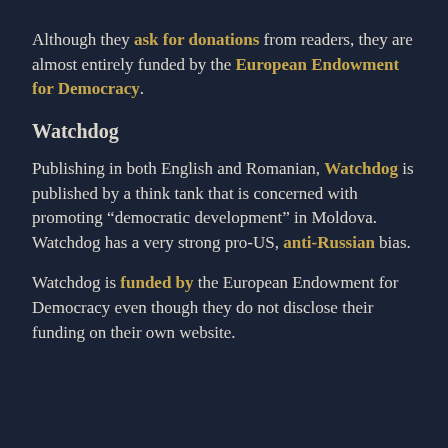Although they ask for donations from readers, they are almost entirely funded by the European Endowment for Democracy.
Watchdog
Publishing in both English and Romanian, Watchdog is published by a think tank that is concerned with promoting “democratic development” in Moldova. Watchdog has a very strong pro-US, anti-Russian bias.
Watchdog is funded by the European Endowment for Democracy even though they do not disclose their funding on their own website.